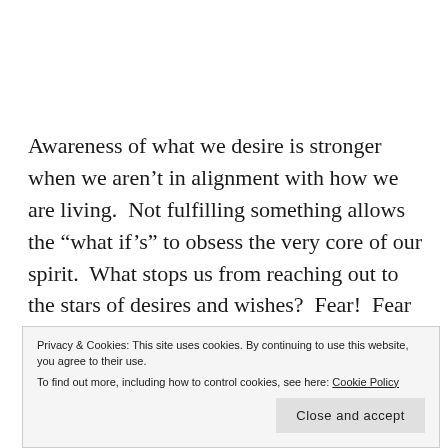Awareness of what we desire is stronger when we aren’t in alignment with how we are living. Not fulfilling something allows the “what if’s” to obsess the very core of our spirit. What stops us from reaching out to the stars of desires and wishes? Fear! Fear of the unknown. Fear of past traumas repeating themselves. Fear of having too much fun and not being responsible
Privacy & Cookies: This site uses cookies. By continuing to use this website, you agree to their use. To find out more, including how to control cookies, see here: Cookie Policy
Close and accept